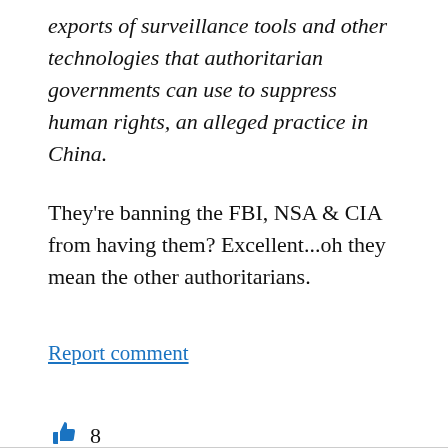exports of surveillance tools and other technologies that authoritarian governments can use to suppress human rights, an alleged practice in China.
They’re banning the FBI, NSA & CIA from having them? Excellent...oh they mean the other authoritarians.
Report comment
8